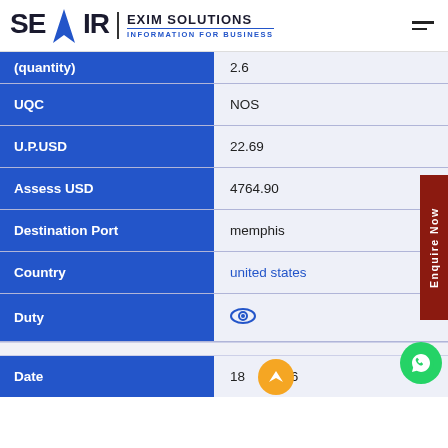[Figure (logo): SEAIR Exim Solutions logo with blue arrow and tagline INFORMATION FOR BUSINESS]
| Field | Value |
| --- | --- |
| (Quantity) | 2.6 |
| UQC | NOS |
| U.P.USD | 22.69 |
| Assess USD | 4764.90 |
| Destination Port | memphis |
| Country | united states |
| Duty | (eye icon) |
| Date | 18__-2016 |